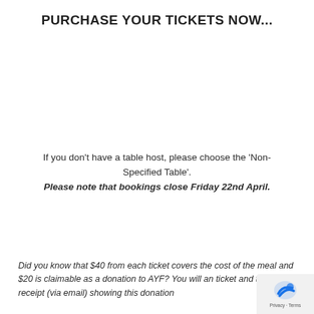PURCHASE YOUR TICKETS NOW...
If you don't have a table host, please choose the 'Non-Specified Table'. Please note that bookings close Friday 22nd April.
Did you know that $40 from each ticket covers the cost of the meal and $20 is claimable as a donation to AYF? You will an ticket and tax receipt (via email) showing this donation